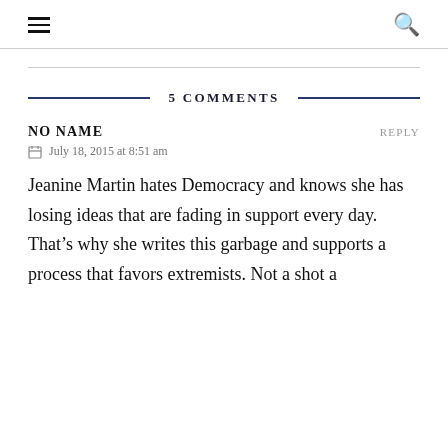☰  🔍
5 COMMENTS
NO NAME   REPLY
July 18, 2015 at 8:51 am
Jeanine Martin hates Democracy and knows she has losing ideas that are fading in support every day. That's why she writes this garbage and supports a process that favors extremists. Not a shot a